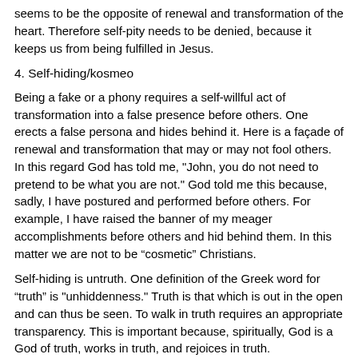seems to be the opposite of renewal and transformation of the heart. Therefore self-pity needs to be denied, because it keeps us from being fulfilled in Jesus.
4. Self-hiding/kosmeo
Being a fake or a phony requires a self-willful act of transformation into a false presence before others. One erects a false persona and hides behind it. Here is a façade of renewal and transformation that may or may not fool others. In this regard God has told me, "John, you do not need to pretend to be what you are not." God told me this because, sadly, I have postured and performed before others. For example, I have raised the banner of my meager accomplishments before others and hid behind them. In this matter we are not to be “cosmetic” Christians.
Self-hiding is untruth. One definition of the Greek word for “truth” is "unhiddenness." Truth is that which is out in the open and can thus be seen. To walk in truth requires an appropriate transparency. This is important because, spiritually, God is a God of truth, works in truth, and rejoices in truth.